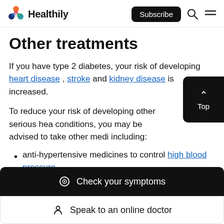Healthily — Subscribe
Other treatments
If you have type 2 diabetes, your risk of developing heart disease, stroke and kidney disease is increased.
To reduce your risk of developing other serious health conditions, you may be advised to take other medicines, including:
anti-hypertensive medicines to control high blood pressure
Check your symptoms
Speak to an online doctor